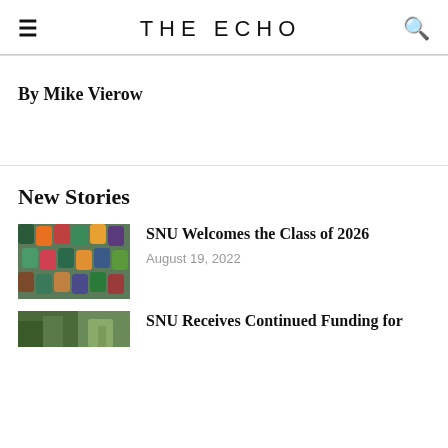THE ECHO
By Mike Vierow
New Stories
[Figure (photo): Colorful chairs in rows, green, teal, orange, red tones]
SNU Welcomes the Class of 2026
August 19, 2022
[Figure (photo): Outdoor photo with trees and buildings]
SNU Receives Continued Funding for